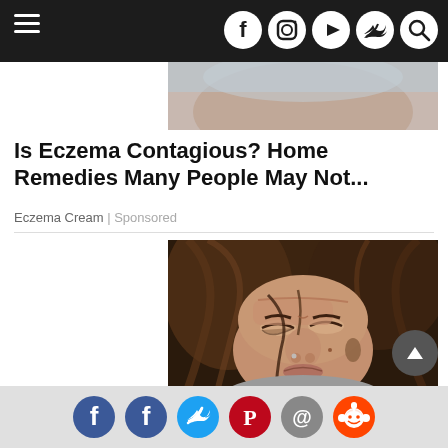Navigation bar with hamburger menu and social icons (Facebook, Instagram, YouTube, Twitter, Search)
[Figure (photo): Partial cropped photo of a person, upper portion visible (eczema article thumbnail)]
Is Eczema Contagious? Home Remedies Many People May Not...
Eczema Cream | Sponsored
[Figure (photo): Close-up photo of a woman wincing in pain with wet hair, holding her head, illustrating migraine headache]
Migraines Treatments For Women (Doctors May Not Be Sharing...
Share bar with social icons: Facebook, Facebook, Twitter, Pinterest, Email, Reddit